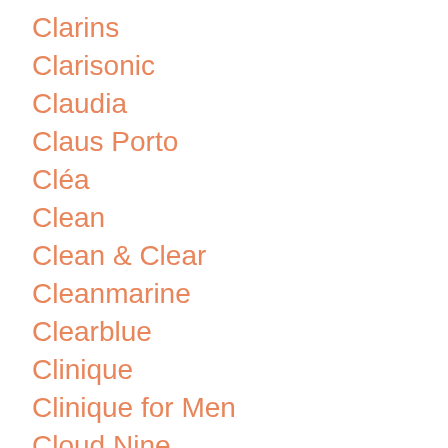Clarins
Clarisonic
Claudia
Claus Porto
Cléa
Clean
Clean & Clear
Cleanmarine
Clearblue
Clinique
Clinique for Men
Cloud Nine